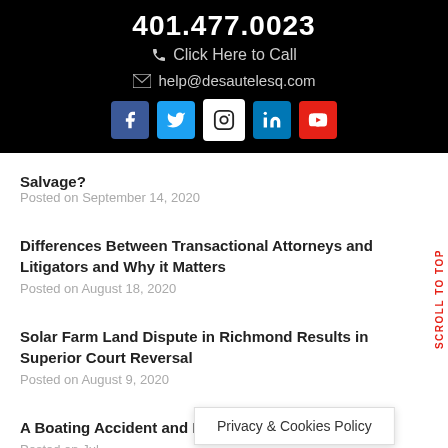401.477.0023
Click Here to Call
help@desautelesq.com
Salvage?
Posted on September 14, 2020
Differences Between Transactional Attorneys and Litigators and Why it Matters
Posted on August 18, 2020
Solar Farm Land Dispute in Richmond Results in Superior Court Reversal
Posted on August 9, 2020
A Boating Accident and Potential Civil Suit in RI
Posted on Jul
Privacy & Cookies Policy